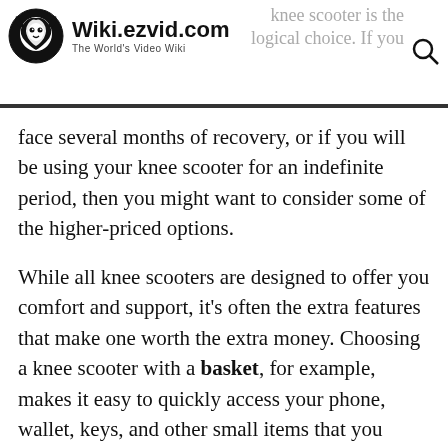Wiki.ezvid.com — The World's Video Wiki | knee scooter is the logical choice. If you
face several months of recovery, or if you will be using your knee scooter for an indefinite period, then you might want to consider some of the higher-priced options.
While all knee scooters are designed to offer you comfort and support, it's often the extra features that make one worth the extra money. Choosing a knee scooter with a basket, for example, makes it easy to quickly access your phone, wallet, keys, and other small items that you might normally hold in your hand.
There are also many knee scooters available that are specialized in various ways and can be perfect for people with varied needs or interests. Some are